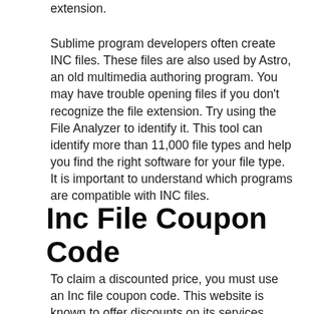extension.
Sublime program developers often create INC files. These files are also used by Astro, an old multimedia authoring program. You may have trouble opening files if you don't recognize the file extension. Try using the File Analyzer to identify it. This tool can identify more than 11,000 file types and help you find the right software for your file type. It is important to understand which programs are compatible with INC files.
Inc File Coupon Code
To claim a discounted price, you must use an Inc file coupon code. This website is known to offer discounts on its services. These